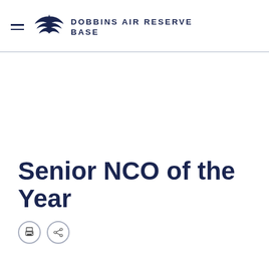DOBBINS AIR RESERVE BASE
Senior NCO of the Year